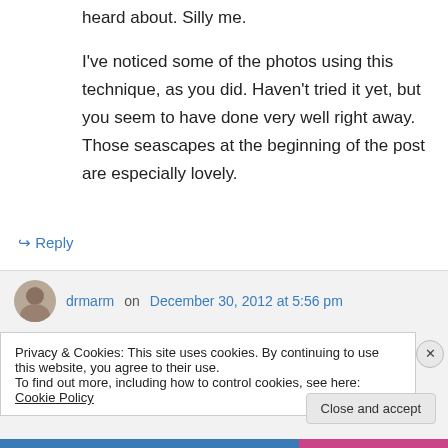heard about. Silly me.
I've noticed some of the photos using this technique, as you did. Haven't tried it yet, but you seem to have done very well right away. Those seascapes at the beginning of the post are especially lovely.
↪ Reply
drmarm on December 30, 2012 at 5:56 pm
Privacy & Cookies: This site uses cookies. By continuing to use this website, you agree to their use.
To find out more, including how to control cookies, see here: Cookie Policy
Close and accept